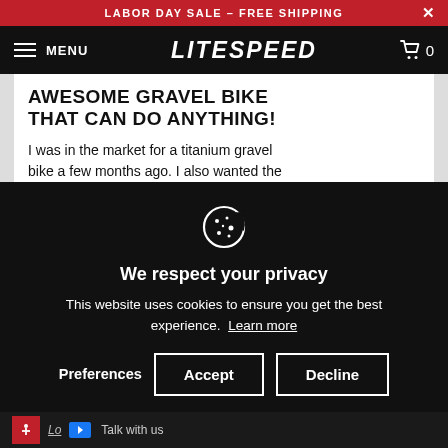LABOR DAY SALE – FREE SHIPPING
[Figure (screenshot): Litespeed website navigation bar with hamburger menu, LITESPEED logo, and shopping cart icon showing 0 items]
AWESOME GRAVEL BIKE THAT CAN DO ANYTHING!
I was in the market for a titanium gravel bike a few months ago. I also wanted the
[Figure (infographic): Cookie consent overlay on black background with cookie icon, 'We respect your privacy' heading, description text, and Preferences/Accept/Decline buttons]
We respect your privacy
This website uses cookies to ensure you get the best experience. Learn more
Talk with us